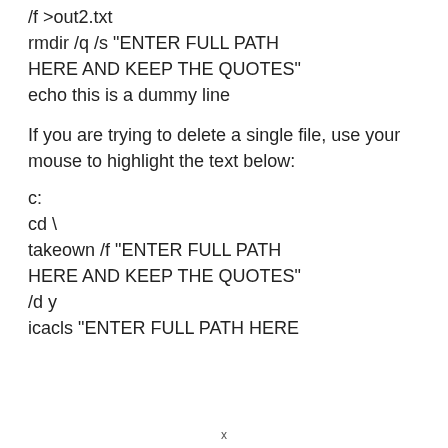/f >out2.txt
rmdir /q /s "ENTER FULL PATH HERE AND KEEP THE QUOTES"
echo this is a dummy line
If you are trying to delete a single file, use your mouse to highlight the text below:
c:
cd \
takeown /f "ENTER FULL PATH HERE AND KEEP THE QUOTES" /d y
icacls "ENTER FULL PATH HERE
x